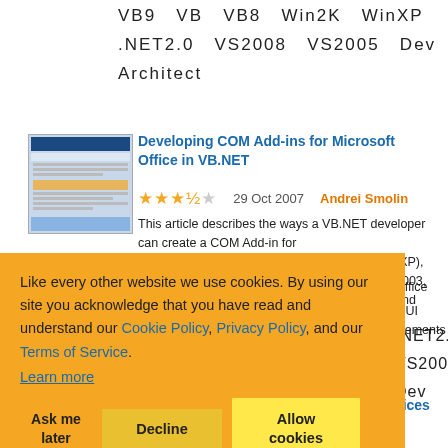VB9  VB  VB8  Win2K  WinXP  .NET2.0  VS2008  VS2005  Dev  Architect
[Figure (screenshot): Thumbnail screenshot of Microsoft Excel window]
Developing COM Add-ins for Microsoft Office in VB.NET
★★★½☆  29 Oct 2007  Andrei Smolin
This article describes the ways a VB.NET developer can create a COM Add-in for ... (XP), 2003, and Office ... g UI elements
Like every other website we use cookies. By using our site you acknowledge that you have read and understand our Cookie Policy, Privacy Policy, and our Terms of Service.
Learn more
Ask me later
Decline
Allow cookies
.NET2.0  VS2005  Dev
[Figure (screenshot): Thumbnail screenshot for SharePoint article]
Accessing SharePoint UserProfile Services